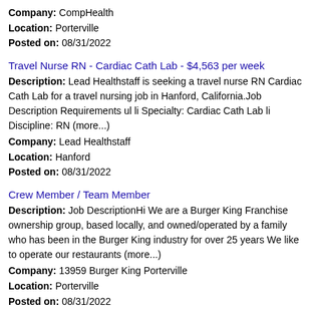Company: CompHealth
Location: Porterville
Posted on: 08/31/2022
Travel Nurse RN - Cardiac Cath Lab - $4,563 per week
Description: Lead Healthstaff is seeking a travel nurse RN Cardiac Cath Lab for a travel nursing job in Hanford, California.Job Description Requirements ul li Specialty: Cardiac Cath Lab li Discipline: RN (more...)
Company: Lead Healthstaff
Location: Hanford
Posted on: 08/31/2022
Crew Member / Team Member
Description: Job DescriptionHi We are a Burger King Franchise ownership group, based locally, and owned/operated by a family who has been in the Burger King industry for over 25 years We like to operate our restaurants (more...)
Company: 13959 Burger King Porterville
Location: Porterville
Posted on: 08/31/2022
Director of Nursing DON Porterville
Description: Links Staffing is Looking for a Director of Nursing DON